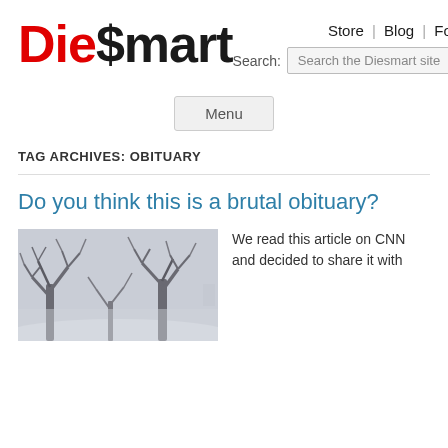Die$mart
Store | Blog | Forms
Search: Search the Diesmart site
Menu
TAG ARCHIVES: OBITUARY
Do you think this is a brutal obituary?
[Figure (photo): Misty winter scene with bare trees in fog]
We read this article on CNN and decided to share it with